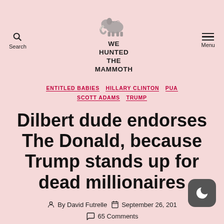We Hunted The Mammoth
ENTITLED BABIES  HILLARY CLINTON  PUA  SCOTT ADAMS  TRUMP
Dilbert dude endorses The Donald, because Trump stands up for dead millionaires
By David Futrelle  September 26, 2015  65 Comments